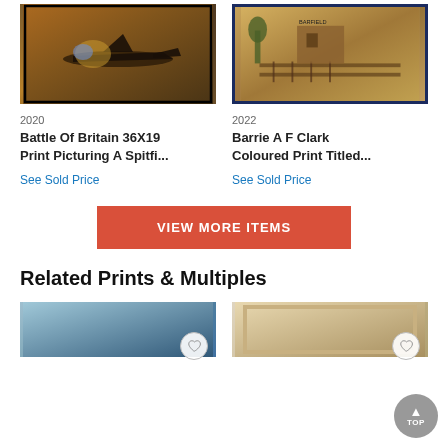[Figure (photo): Painting of a WWII Spitfire aircraft in flight, dark warm tones]
[Figure (photo): Coloured print of a railway station scene, framed with dark blue border]
2020
2022
Battle Of Britain 36X19 Print Picturing A Spitfi...
Barrie A F Clark Coloured Print Titled...
See Sold Price
See Sold Price
VIEW MORE ITEMS
Related Prints & Multiples
[Figure (photo): Thumbnail of an abstract blue/teal artwork]
[Figure (photo): Thumbnail of a beige/gold framed artwork]